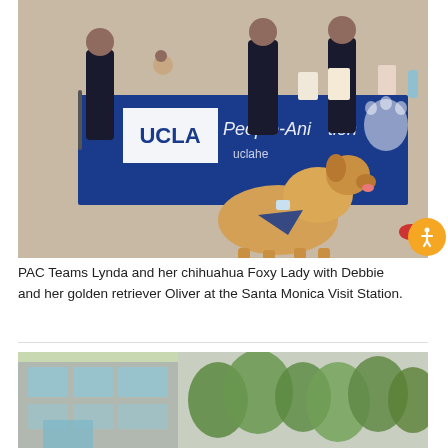[Figure (photo): Two people and two dogs at a UCLA People-Animal Connection booth with a blue tablecloth at the Santa Monica Visit Station. A golden retriever sits in the foreground wearing a bandana, and a chihuahua is being held. The table is covered with a blue cloth reading UCLA Health People-Animal Connection.]
PAC Teams Lynda and her chihuahua Foxy Lady with Debbie and her golden retriever Oliver at the Santa Monica Visit Station.
[Figure (photo): Exterior building photograph showing a modern glass and concrete building with green trees in the foreground.]